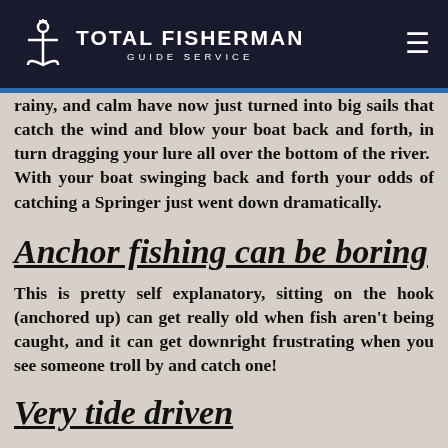TOTAL FISHERMAN GUIDE SERVICE
rainy, and calm have now just turned into big sails that catch the wind and blow your boat back and forth, in turn dragging your lure all over the bottom of the river.  With your boat swinging back and forth your odds of catching a Springer just went down dramatically.
Anchor fishing can be boring
This is pretty self explanatory, sitting on the hook (anchored up) can get really old when fish aren't being caught, and it can get downright frustrating when you see someone troll by and catch one!
Very tide driven